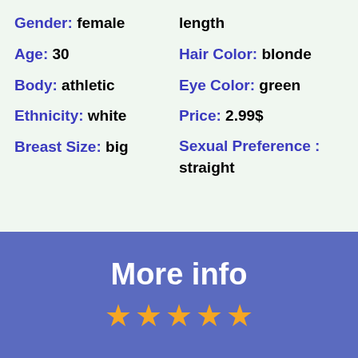length
Gender: female
Hair Color: blonde
Age: 30
Hair Color: blonde
Body: athletic
Eye Color: green
Ethnicity: white
Price: 2.99$
Breast Size: big
Sexual Preference : straight
More info
[Figure (other): Five gold star rating icons]